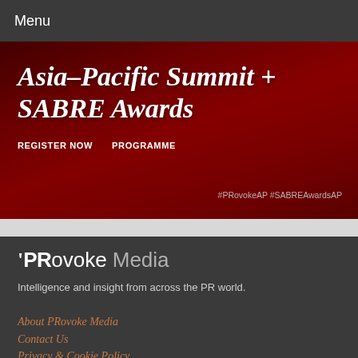Menu
[Figure (illustration): Asia-Pacific Summit + SABRE Awards promotional banner with dark red background, showing title text, REGISTER NOW and PROGRAMME buttons, and hashtags #PRovokeAP #SABREAwardsAP]
'PRovoke Media
Intelligence and insight from across the PR world.
About PRovoke Media
Contact Us
Privacy & Cookie Policy